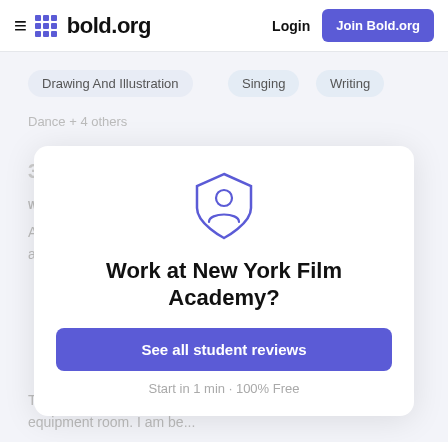bold.org — Login | Join Bold.org
Drawing And Illustration
Singing
Writing
Dance + 4 others
3.0 ★ ★ ★
WHAT I LIKED
At NYFA you get a really good hands-on experience and build a solid portfolio, learning useful skills for a variety of ...
[Figure (illustration): Shield icon with person silhouette in purple outline style]
Work at New York Film Academy?
See all student reviews
Start in 1 min · 100% Free
There is some disconnect between departments and the equipment room. I am be...